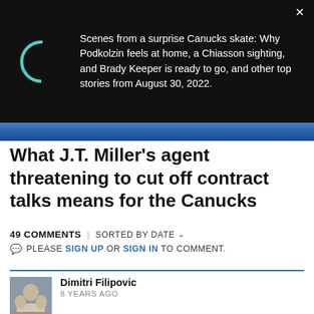[Figure (screenshot): Notification popup with loading spinner and article headline on dark background]
[Figure (photo): Partial photo strip showing blue/green colors, likely sports related]
What J.T. Miller's agent threatening to cut off contract talks means for the Canucks
49 COMMENTS | SORTED BY DATE
PLEASE SIGN UP OR SIGN IN TO COMMENT.
Dimitri Filipovic
8 YEARS AGO
Out of curiosity, what's the new job? I liked what you did at your old one.